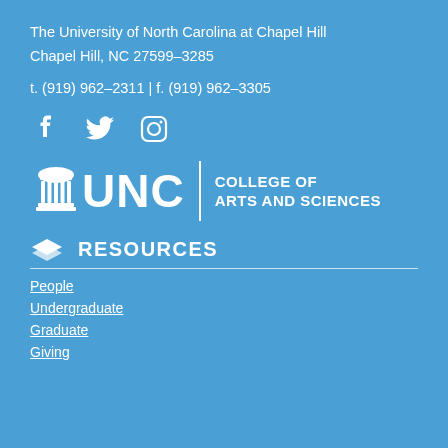The University of North Carolina at Chapel Hill
Chapel Hill, NC 27599–3285
t. (919) 962–2311 | f. (919) 962–3305
[Figure (logo): Social media icons: Facebook, Twitter, Instagram]
[Figure (logo): UNC College of Arts and Sciences logo with Well/Columns icon, UNC wordmark, divider, and COLLEGE OF ARTS AND SCIENCES text]
RESOURCES
People
Undergraduate
Graduate
Giving